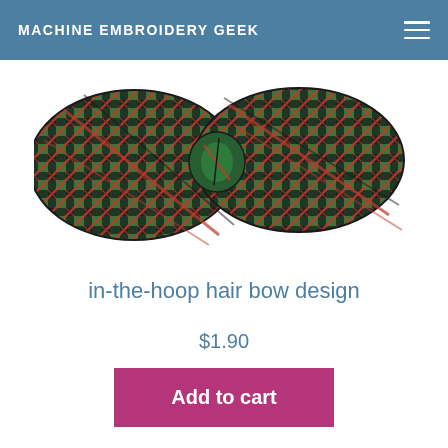MACHINE EMBROIDERY GEEK
[Figure (photo): A green, black and red plaid fabric hair bow with a knotted center, photographed on a white background.]
in-the-hoop hair bow design
$1.90
Add to cart